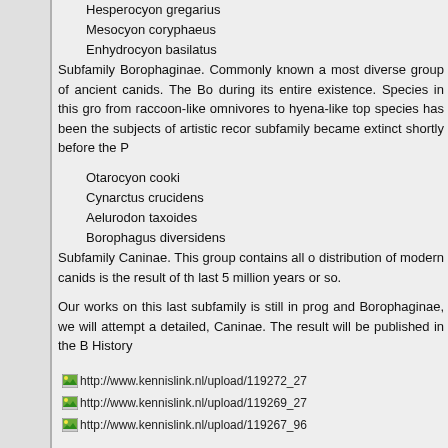Hesperocyon gregarius
Mesocyon coryphaeus
Enhydrocyon basilatus
Subfamily Borophaginae.  Commonly known a most diverse group of ancient canids.  The Bo during its entire existence.  Species in this gro from raccoon-like omnivores to hyena-like top species has been the subjects of artistic recor subfamily became extinct shortly before the P
Otarocyon cooki
Cynarctus crucidens
Aelurodon taxoides
Borophagus diversidens
Subfamily Caninae.  This group contains all o distribution of modern canids is the result of th last 5 million years or so.
Our works on this last subfamily is still in prog and Borophaginae, we will attempt a detailed, Caninae.  The result will be published in the B History
[Figure (screenshot): Image link: http://www.kennislink.nl/upload/119272_27]
[Figure (screenshot): Image link: http://www.kennislink.nl/upload/119269_27]
[Figure (screenshot): Image link: http://www.kennislink.nl/upload/119267_96]